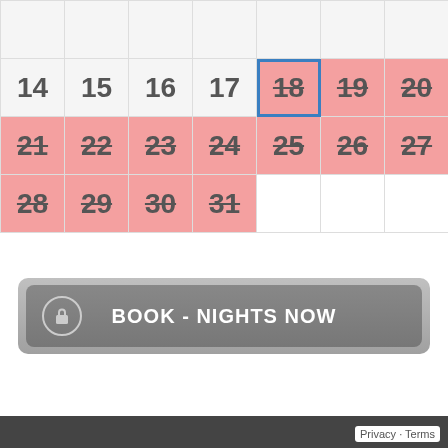[Figure (screenshot): Booking calendar showing dates 14-31, with dates 18-31 crossed out in pink (booked/unavailable), date 18 highlighted with blue border. A 'BOOK - NIGHTS NOW' button below the calendar.]
Privacy · Terms